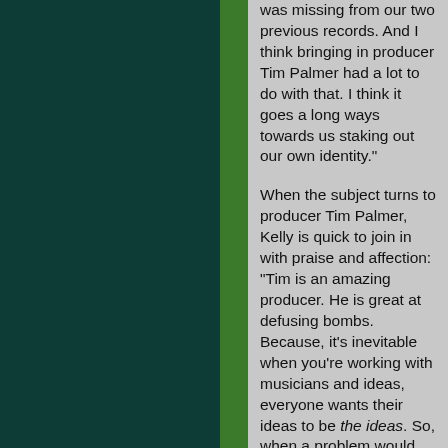was missing from our two previous records. And I think bringing in producer Tim Palmer had a lot to do with that. I think it goes a long ways towards us staking out our own identity."
When the subject turns to producer Tim Palmer, Kelly is quick to join in with praise and affection: "Tim is an amazing producer. He is great at defusing bombs. Because, it's inevitable when you're working with musicians and ideas, everyone wants their ideas to be the ideas. So, when a problem would arise, he defused the bomb perfectly and really worked towards the song and not the ego of each artist."
Touring non-stop throughout the spring and summer, just as in the past, Goldfinger plans to work as much and as hard as they can, doing what they love and having a blast. Leaving us with a few more comments on the album, Charlie says with a smile:
"I think it came out as good as it could. When you have five people